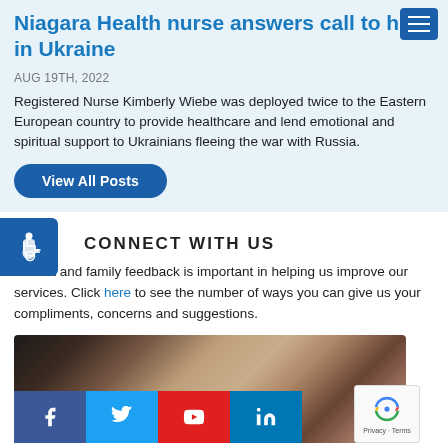Niagara Health nurse answers call to help in Ukraine
AUG 19TH, 2022
Registered Nurse Kimberly Wiebe was deployed twice to the Eastern European country to provide healthcare and lend emotional and spiritual support to Ukrainians fleeing the war with Russia.
View All Posts
CONNECT WITH US
Patient and family feedback is important in helping us improve our services. Click here to see the number of ways you can give us your compliments, concerns and suggestions.
[Figure (photo): Close-up photo of two people holding hands, suggesting care and support. Below the image are social media icons for Facebook, Twitter, YouTube, and LinkedIn.]